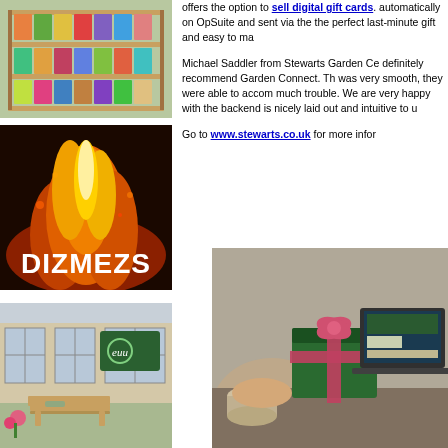[Figure (photo): Shelving unit displaying seed packets in a garden centre]
[Figure (photo): Fire/flames background with bold white text DIZMEZS overlay]
[Figure (photo): Garden centre exterior with ecuu logo sign, bench and flowers]
offers the option to sell digital gift cards. automatically on OpSuite and sent via the the perfect last-minute gift and easy to ma
Michael Saddler from Stewarts Garden Ce definitely recommend Garden Connect. Th was very smooth, they were able to accom much trouble. We are very happy with the backend is nicely laid out and intuitive to u
Go to www.stewarts.co.uk for more infor
[Figure (photo): Person holding green wrapped gift box with pink ribbon next to a laptop showing garden website]